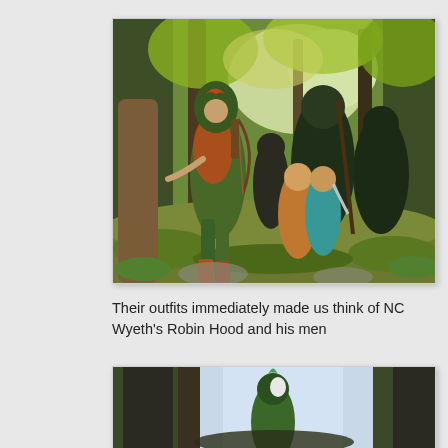[Figure (illustration): A painting in NC Wyeth style showing figures in a forest. A central figure in green and orange hooded outfit with a bow, surrounded by dark-cloaked figures in a lush forest setting with golden foliage, and two smaller figures (children) in the foreground.]
Their outfits immediately made us think of NC Wyeth's Robin Hood and his men
[Figure (illustration): A second illustration partially visible, showing a forest scene with trees and a figure in green.]